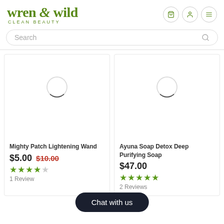wren & wild CLEAN BEAUTY
Search
[Figure (screenshot): Product card for Mighty Patch Lightening Wand with loading spinner, price $5.00 (was $10.00), 4-star rating, 1 Review]
[Figure (screenshot): Product card for Ayuna Soap Detox Deep Purifying Soap with loading spinner, price $47.00, 5-star rating, 2 Reviews]
Chat with us